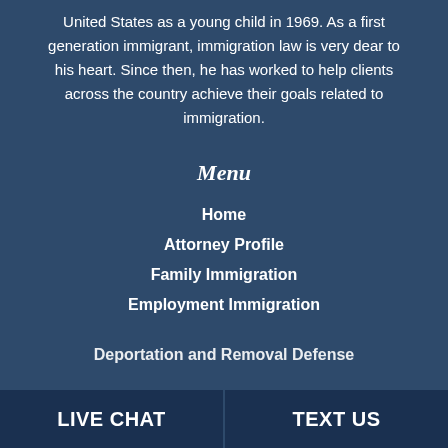United States as a young child in 1969. As a first generation immigrant, immigration law is very dear to his heart. Since then, he has worked to help clients across the country achieve their goals related to immigration.
Menu
Home
Attorney Profile
Family Immigration
Employment Immigration
Deportation and Removal Defense
LIVE CHAT   TEXT US